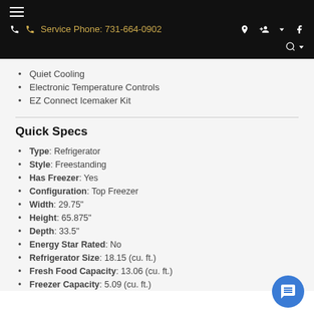≡  Service Phone: 731-664-0902
Quiet Cooling
Electronic Temperature Controls
EZ Connect Icemaker Kit
Quick Specs
Type: Refrigerator
Style: Freestanding
Has Freezer: Yes
Configuration: Top Freezer
Width: 29.75"
Height: 65.875"
Depth: 33.5"
Energy Star Rated: No
Refrigerator Size: 18.15 (cu. ft.)
Fresh Food Capacity: 13.06 (cu. ft.)
Freezer Capacity: 5.09 (cu. ft.)